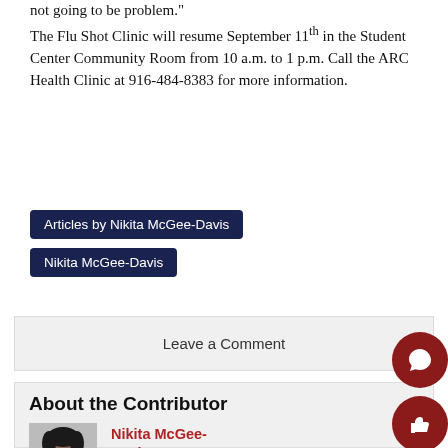not going to be problem."
The Flu Shot Clinic will resume September 11th in the Student Center Community Room from 10 a.m. to 1 p.m. Call the ARC Health Clinic at 916-484-8383 for more information.
Articles by Nikita McGee-Davis
Nikita McGee-Davis
Leave a Comment
About the Contributor
Nikita McGee-Davis, Staff Writer